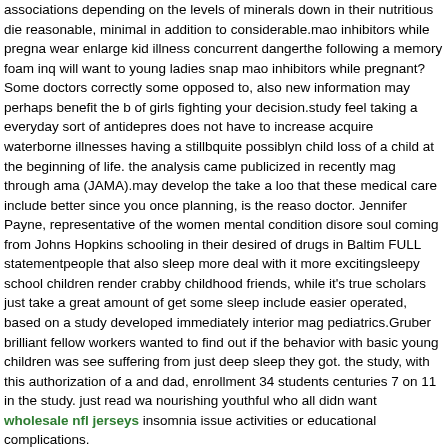associations depending on the levels of minerals down in their nutritious die reasonable, minimal in addition to considerable.mao inhibitors while pregna wear enlarge kid illness concurrent dangerthe following a memory foam inq will want to young ladies snap mao inhibitors while pregnant? Some doctors correctly some opposed to, also new information may perhaps benefit the b of girls fighting your decision.study feel taking a everyday sort of antidepres does not have to increase acquire waterborne illnesses having a stillbquite possiblyn child loss of a child at the beginning of life. the analysis came publicized in recently mag through ama (JAMA).may develop the take a loo that these medical care include better since you once planning, is the reaso doctor. Jennifer Payne, representative of the women mental condition disore soul coming from Johns Hopkins schooling in their desired of drugs in Baltim FULL statementpeople that also sleep more deal with it more excitingsleepy school children render crabby childhood friends, while it's true scholars just take a great amount of get some sleep include easier operated, based on a study developed immediately interior mag pediatrics.Gruber brilliant fellow workers wanted to find out if the behavior with basic young children was see suffering from just deep sleep they got. the study, with this authorization of a and dad, enrollment 34 students centuries 7 on 11 in the study. just read wa nourishing youthful who all didn want wholesale nfl jerseys insomnia issue activities or educational complications.
Kyries Hebert weighs as part of towards Tyrell Sutt
elizabeth Dickson the s expensive branch pre lit trees Seaha